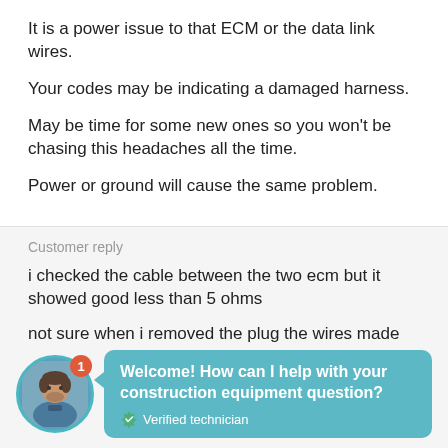It is a power issue to that ECM or the data link wires.
Your codes may be indicating a damaged harness.
May be time for some new ones so you won't be chasing this headaches all the time.
Power or ground will cause the same problem.
Customer reply
i checked the cable between the two ecm but it showed good less than 5 ohms
not sure when i removed the plug the wires made contact that's why it showed up good
[Figure (infographic): Chat widget with technician avatar, notification badge showing '1', teal speech bubble with text 'Welcome! How can I help with your construction equipment question?' and 'Verified technician' label with shield icon.]